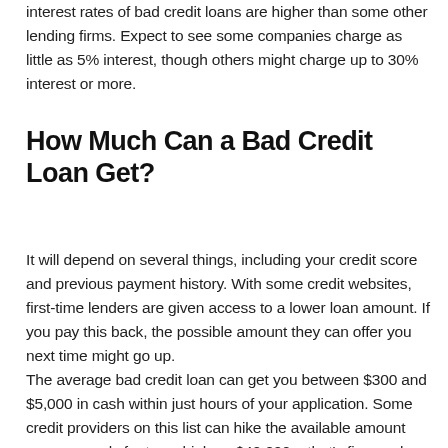interest rates of bad credit loans are higher than some other lending firms. Expect to see some companies charge as little as 5% interest, though others might charge up to 30% interest or more.
How Much Can a Bad Credit Loan Get?
It will depend on several things, including your credit score and previous payment history. With some credit websites, first-time lenders are given access to a lower loan amount. If you pay this back, the possible amount they can offer you next time might go up.
The average bad credit loan can get you between $300 and $5,000 in cash within just hours of your application. Some credit providers on this list can hike the available amount you can apply for to as high as $40,000 – that's fine, as long as you are sure you will be able to repay the debt.